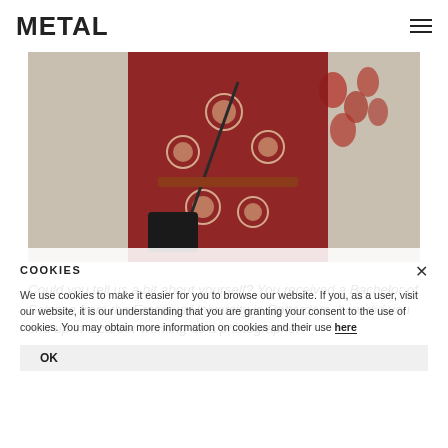METAL
[Figure (photo): A person wearing a deep red/burgundy traditional garment with circular embroidered medallions and a dark crossbody bag, standing against a white wall with red handprints.]
Could you tell us a bit about yourself? You received a Bachelor of Science from the Erasmus University in Rotterdam, how did you end up in a career working as a photographer?
I grew up in fairly 'boring' suburbs, but was always
COOKIES
We use cookies to make it easier for you to browse our website. If you, as a user, visit our website, it is our understanding that you are granting your consent to the use of cookies. You may obtain more information on cookies and their use here
OK